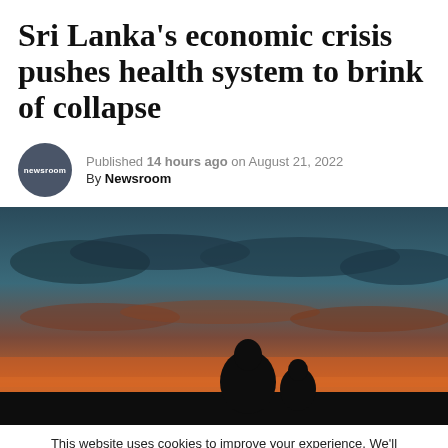Sri Lanka's economic crisis pushes health system to brink of collapse
Published 14 hours ago on August 21, 2022
By Newsroom
[Figure (photo): Silhouette of two people (adult and child) sitting together against a dramatic sunset sky with orange, red, and teal/blue tones and clouds.]
This website uses cookies to improve your experience. We'll assume you're ok with this, but you can opt-out if you wish. Accept  Reject  Read More